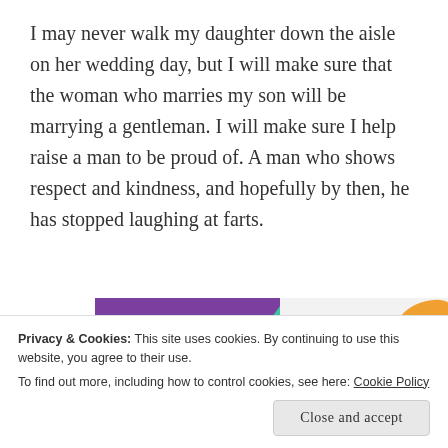I may never walk my daughter down the aisle on her wedding day, but I will make sure that the woman who marries my son will be marrying a gentleman. I will make sure I help raise a man to be proud of. A man who shows respect and kindness, and hopefully by then, he has stopped laughing at farts.
[Figure (other): WooCommerce advertisement banner: purple left panel with WooCommerce logo and teal arrow, white right panel with text 'How to start selling subscriptions online', orange and blue decorative shapes.]
Thanks to living with three males, Star Wars has
Privacy & Cookies: This site uses cookies. By continuing to use this website, you agree to their use.
To find out more, including how to control cookies, see here: Cookie Policy